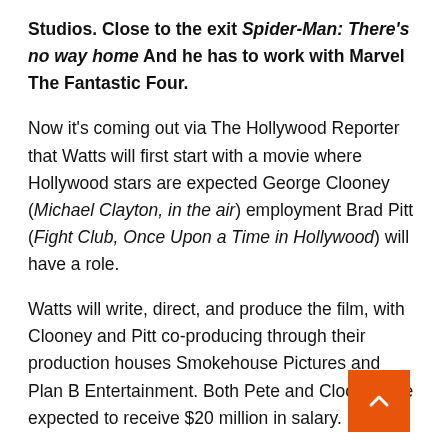Studios. Close to the exit Spider-Man: There's no way home And he has to work with Marvel The Fantastic Four.
Now it's coming out via The Hollywood Reporter that Watts will first start with a movie where Hollywood stars are expected George Clooney (Michael Clayton, in the air) employment Brad Pitt (Fight Club, Once Upon a Time in Hollywood) will have a role.
Watts will write, direct, and produce the film, with Clooney and Pitt co-producing through their production houses Smokehouse Pictures and Plan B Entertainment. Both Pete and Clooney are expected to receive $20 million in salary.
Every Hollywood wants to buy the movie
Reportedly, all major Hollywood studios and streaming